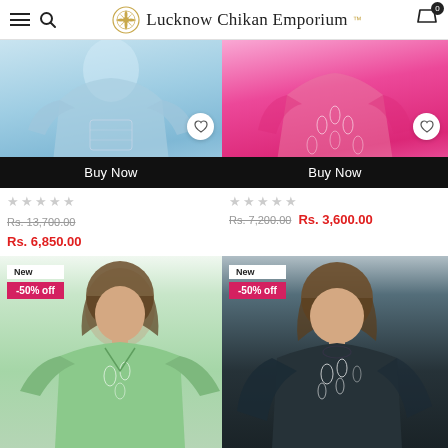Lucknow Chikan Emporium
[Figure (photo): Blue chikan embroidered kurta/dress on model, with Buy Now button, 5-star rating (empty), original price Rs. 13,700.00, sale price Rs. 6,850.00]
[Figure (photo): Pink chikan embroidered kurta/dress on model, with Buy Now button, 5-star rating (empty), original price Rs. 7,200.00, sale price Rs. 3,600.00]
[Figure (photo): Green chikan kurta on female model, New badge and -50% off badge]
[Figure (photo): Navy blue chikan kurta on female model, New badge and -50% off badge]